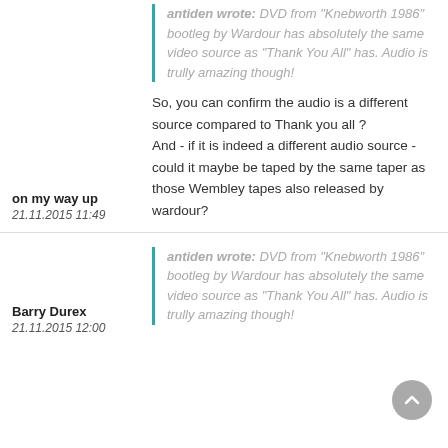antiden wrote: DVD from "Knebworth 1986" bootleg by Wardour has absolutely the same video source as "Thank You All" has. Audio is trully amazing though!
on my way up
21.11.2015 11:49
So, you can confirm the audio is a different source compared to Thank you all ? And - if it is indeed a different audio source - could it maybe be taped by the same taper as those Wembley tapes also released by wardour?
antiden wrote: DVD from "Knebworth 1986" bootleg by Wardour has absolutely the same video source as "Thank You All" has. Audio is trully amazing though!
Barry Durex
21.11.2015 12:00